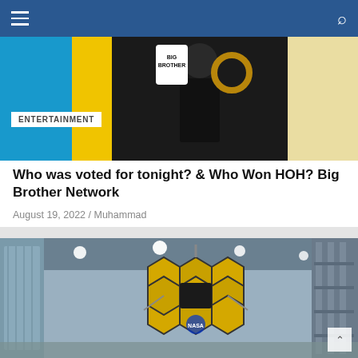Navigation bar with hamburger menu and search icon
[Figure (photo): Big Brother TV show promotional image — person in black outfit holding a Big Brother branded key and a gold letter O, against a blue and yellow background with ENTERTAINMENT label overlay]
ENTERTAINMENT
Who was voted for tonight? & Who Won HOH? Big Brother Network
August 19, 2022 / Muhammad
[Figure (photo): James Webb Space Telescope golden hexagonal mirror array photographed in a facility/clean room, with NASA logo visible, ceiling lights, and scaffolding in background]